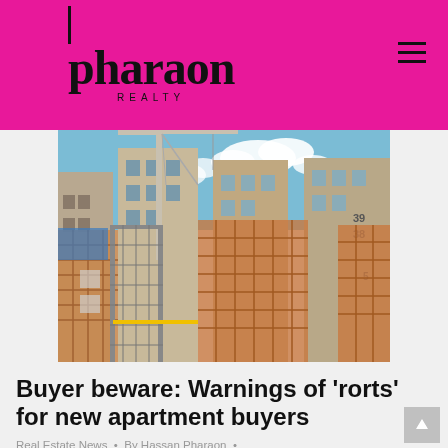pharaon REALTY
[Figure (photo): Construction site showing a tall building under construction with scaffolding, wooden formwork, a crane, and blue sky with clouds in the background.]
Buyer beware: Warnings of ‘rorts’ for new apartment buyers
Real Estate News • By Hassan Pharaon • April 23, 2019 • Leave a comment